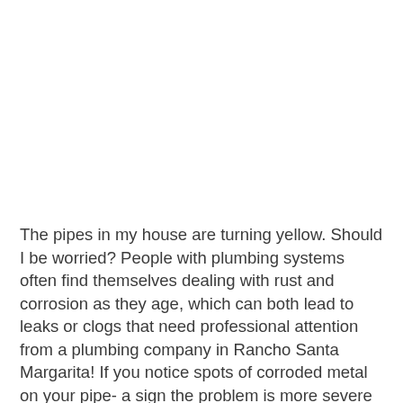The pipes in my house are turning yellow. Should I be worried? People with plumbing systems often find themselves dealing with rust and corrosion as they age, which can both lead to leaks or clogs that need professional attention from a plumbing company in Rancho Santa Margarita! If you notice spots of corroded metal on your pipe- a sign the problem is more severe than it seems – consider replacing any at risk materials